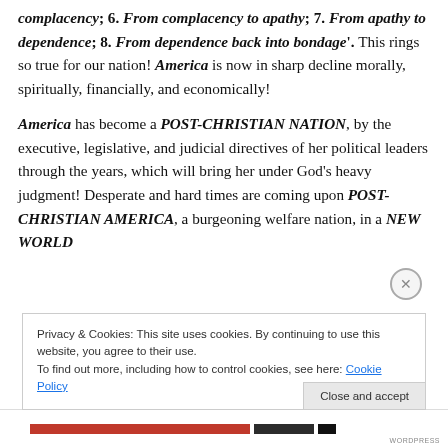complacency; 6. From complacency to apathy; 7. From apathy to dependence; 8. From dependence back into bondage'. This rings so true for our nation! America is now in sharp decline morally, spiritually, financially, and economically!

America has become a POST-CHRISTIAN NATION, by the executive, legislative, and judicial directives of her political leaders through the years, which will bring her under God's heavy judgment! Desperate and hard times are coming upon POST-CHRISTIAN AMERICA, a burgeoning welfare nation, in a NEW WORLD...
Privacy & Cookies: This site uses cookies. By continuing to use this website, you agree to their use.
To find out more, including how to control cookies, see here: Cookie Policy